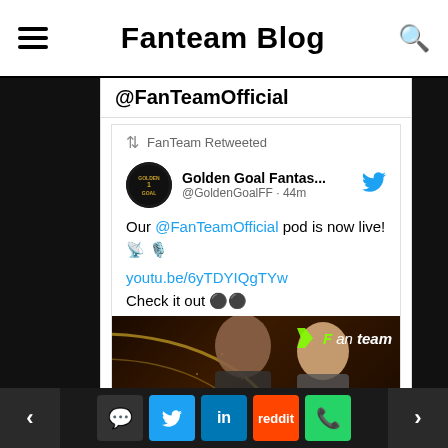Fanteam Blog
@FanTeamOfficial
FanTeam Retweeted
Golden Goal Fantas... @GoldenGoalFF · 44m
Our @FanTeamOfficial pod is now live! 📡🎙️
youtu.be/6yTDYIQgTYw
Check it out ⚫⚫
[Figure (screenshot): Fanteam promotional image with dark background, gold arc, Fanteam logo, and player photos]